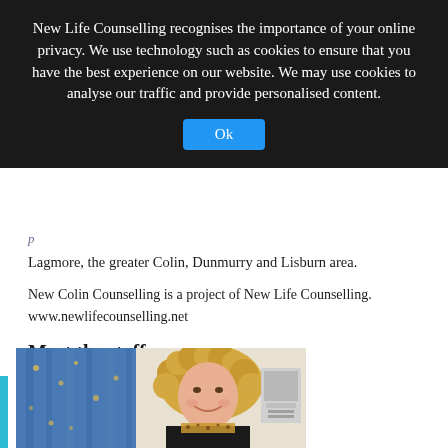New Life Counselling recognises the importance of your online privacy. We use technology such as cookies to ensure that you have the best experience on our website. We may use cookies to analyse our traffic and provide personalised content.
Ok
Lagmore, the greater Colin, Dunmurry and Lisburn area.
New Colin Counselling is a project of New Life Counselling. www.newlifecounselling.net
Meet the staff:
[Figure (photo): Photo of a smiling woman with curly blonde hair, wearing a dark top and leopard-print scarf, seated near office equipment and blue curtains in the background.]